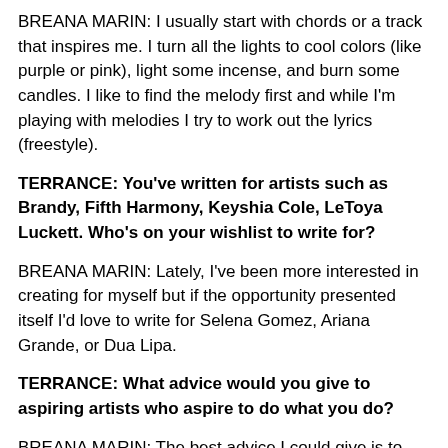BREANA MARIN: I usually start with chords or a track that inspires me. I turn all the lights to cool colors (like purple or pink), light some incense, and burn some candles. I like to find the melody first and while I'm playing with melodies I try to work out the lyrics (freestyle).
TERRANCE: You've written for artists such as Brandy, Fifth Harmony, Keyshia Cole, LeToya Luckett. Who's on your wishlist to write for?
BREANA MARIN: Lately, I've been more interested in creating for myself but if the opportunity presented itself I'd love to write for Selena Gomez, Ariana Grande, or Dua Lipa.
TERRANCE: What advice would you give to aspiring artists who aspire to do what you do?
BREANA MARIN: The best advice I could give is to network and cherish the relationships with creatives who are coming up with you. You never know where someone will go and